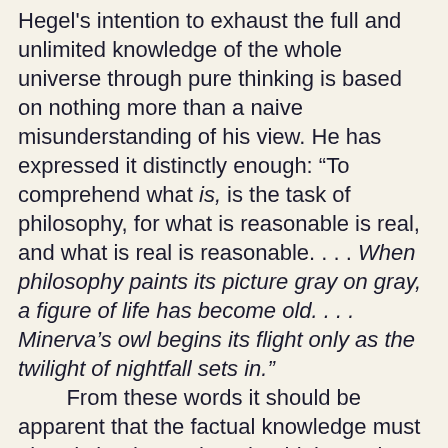Hegel's intention to exhaust the full and unlimited knowledge of the whole universe through pure thinking is based on nothing more than a naive misunderstanding of his view. He has expressed it distinctly enough: “To comprehend what is, is the task of philosophy, for what is reasonable is real, and what is real is reasonable. . . . When philosophy paints its picture gray on gray, a figure of life has become old. . . . Minerva’s owl begins its flight only as the twilight of nightfall sets in.” From these words it should be apparent that the factual knowledge must already be there when the thinker arrives to see them in a new light from his viewpoint. One should not demand of Hegel that he derive new natural laws from pure thought, for he had not intended to do this at all. What he had set out to do was to spread philosophical light over the sum total of natural laws that existed in his time. Nobody demands of a natural scientist that he create the starry sky, although in his research he is concerned with the firmament above his viewpoint.